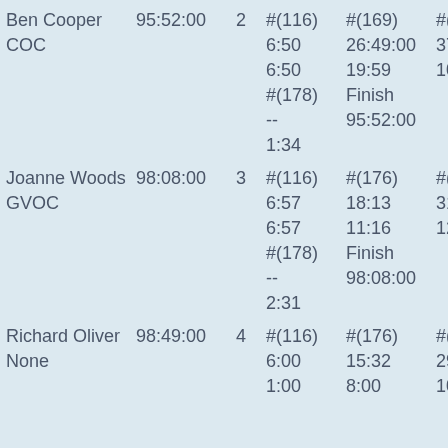| Ben Cooper | 95:52:00 | 2 | #(116) | #(169) | #(165) |
| COC |  |  | 6:50 | 26:49:00 | 37:09: |
|  |  |  | 6:50 | 19:59 | 10:20 |
|  |  |  | #(178) | Finish |  |
|  |  |  | -- | 95:52:00 |  |
|  |  |  | 1:34 |  |  |
| Joanne Woods | 98:08:00 | 3 | #(116) | #(176) | #(169) |
| GVOC |  |  | 6:57 | 18:13 | 31:10: |
|  |  |  | 6:57 | 11:16 | 12:57 |
|  |  |  | #(178) | Finish |  |
|  |  |  | -- | 98:08:00 |  |
|  |  |  | 2:31 |  |  |
| Richard Oliver | 98:49:00 | 4 | #(116) | #(176) | #(169) |
| None |  |  | 6:00 | 15:32 | 29:11: |
|  |  |  | 1:00 | 8:00 | 10:00 |